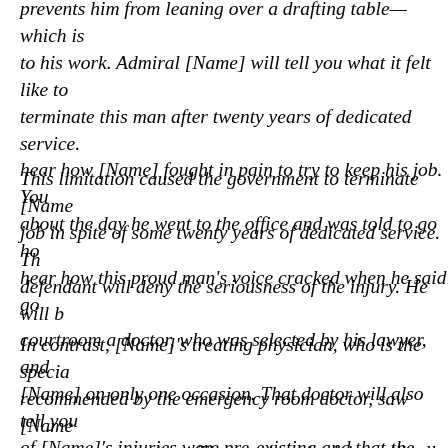prevents him from leaning over a drafting table—which is to his work. Admiral [Name] will tell you what it felt like to terminate this man after twenty years of dedicated service. hear how [Name] fought in pain to try to keep his job. You about the day he went to the office and was told to go ho hear how this proud man's voice cracked when he said go
This limitation caused the government to terminate [Name] job in spite of some twenty years of dedicated service. The defendant will deny the seriousness of the injury. He will b courtroom a doctor, who was selected by his lawyer, and [Name] on only one occasion. That doctor will also tell you of [Name]'s injuries were pre-existing and that the remain caused because he did not wear a seatbelt.
In contrast, [Name]'s treating physician, who is the specia recommended by the emergency room doctor, saw [Name] twenty-one occasions. The treating physician will tell you a significance of the disk injury and that bending the neck re